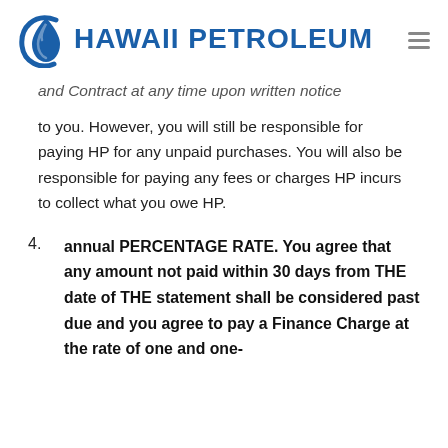HAWAII PETROLEUM
and Contract at any time upon written notice to you. However, you will still be responsible for paying HP for any unpaid purchases. You will also be responsible for paying any fees or charges HP incurs to collect what you owe HP.
4. annual PERCENTAGE RATE. You agree that any amount not paid within 30 days from THE date of THE statement shall be considered past due and you agree to pay a Finance Charge at the rate of one and one-